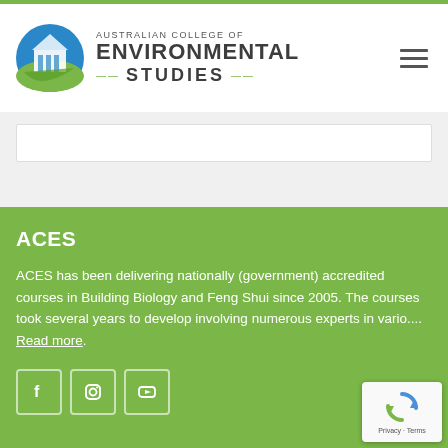Australian College of Environmental Studies
ACES
ACES has been delivering nationally (government) accredited courses in Building Biology and Feng Shui since 2005. The courses took several years to develop involving numerous experts in vario.... Read more.